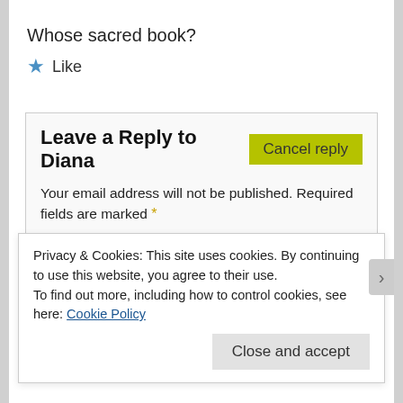Whose sacred book?
★ Like
Leave a Reply to Diana
Cancel reply
Your email address will not be published. Required fields are marked *
Comment *
Privacy & Cookies: This site uses cookies. By continuing to use this website, you agree to their use.
To find out more, including how to control cookies, see here: Cookie Policy
Close and accept